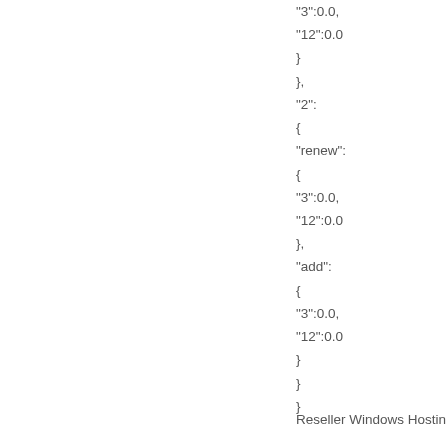"3":0.0,
"12":0.0
}
},
"2":
{
"renew":
{
"3":0.0,
"12":0.0
},
"add":
{
"3":0.0,
"12":0.0
}
}
}
Reseller Windows Hostin